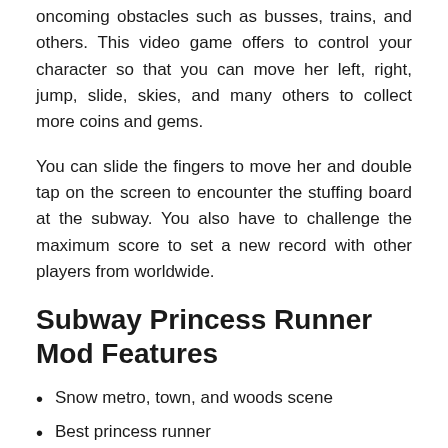oncoming obstacles such as busses, trains, and others. This video game offers to control your character so that you can move her left, right, jump, slide, skies, and many others to collect more coins and gems.
You can slide the fingers to move her and double tap on the screen to encounter the stuffing board at the subway. You also have to challenge the maximum score to set a new record with other players from worldwide.
Subway Princess Runner Mod Features
Snow metro, town, and woods scene
Best princess runner
Hurry as quickly as possible